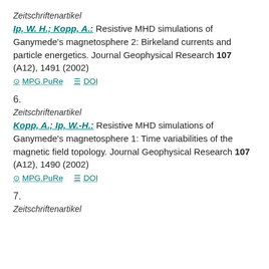Zeitschriftenartikel
Ip, W. H.; Kopp, A.: Resistive MHD simulations of Ganymede's magnetosphere 2: Birkeland currents and particle energetics. Journal Geophysical Research 107 (A12), 1491 (2002)
MPG.PuRe   DOI
6.
Zeitschriftenartikel
Kopp, A.; Ip, W.-H.: Resistive MHD simulations of Ganymede's magnetosphere 1: Time variabilities of the magnetic field topology. Journal Geophysical Research 107 (A12), 1490 (2002)
MPG.PuRe   DOI
7.
Zeitschriftenartikel